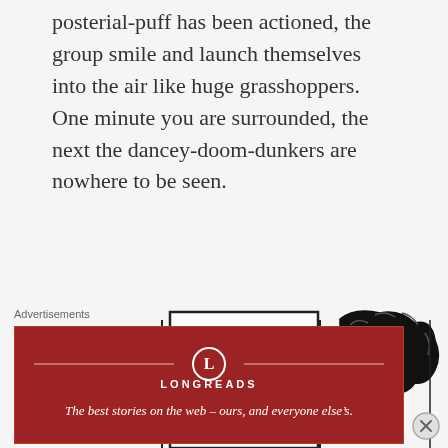posterial-puff has been actioned, the group smile and launch themselves into the air like huge grasshoppers. One minute you are surrounded, the next the dancey-doom-dunkers are nowhere to be seen.
[Figure (illustration): Black and white illustration showing three figures with curly/wavy hair partially visible, separated by vertical lines, appearing to be peeking or looking around panels]
Advertisements
[Figure (other): Longreads advertisement banner with red background. Logo circle with L, brand name LONGREADS, tagline: The best stories on the web - ours, and everyone else's.]